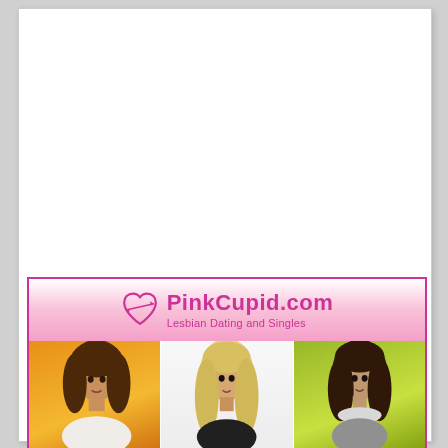[Figure (advertisement): PinkCupid.com advertisement banner with logo, heart icon, tagline 'Lesbian Dating and Singles', and a 3-column photo grid showing three women's portraits against colored backgrounds (orange/yellow, white, green/yellow).]